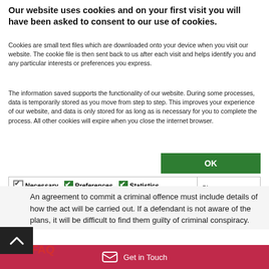Our website uses cookies and on your first visit you will have been asked to consent to our use of cookies.
Cookies are small text files which are downloaded onto your device when you visit our website. The cookie file is then sent back to us after each visit and helps identify you and any particular interests or preferences you express.
The information saved supports the functionality of our website. During some processes, data is temporarily stored as you move from step to step. This improves your experience of our website, and data is only stored for as long as is necessary for you to complete the process. All other cookies will expire when you close the internet browser.
| Necessary  Preferences  Statistics  Marketing | Show details |
An agreement to commit a criminal offence must include details of how the act will be carried out. If a defendant is not aware of the plans, it will be difficult to find them guilty of criminal conspiracy.
Get in Touch